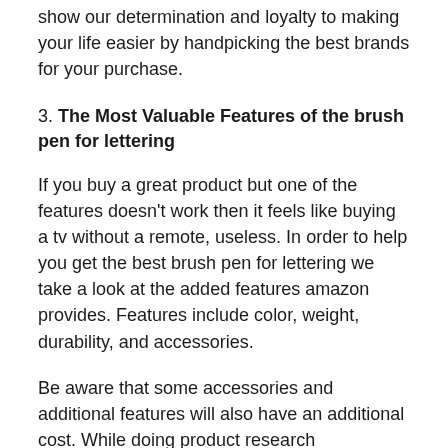show our determination and loyalty to making your life easier by handpicking the best brands for your purchase.
3. The Most Valuable Features of the brush pen for lettering
If you buy a great product but one of the features doesn’t work then it feels like buying a tv without a remote, useless. In order to help you get the best brush pen for lettering we take a look at the added features amazon provides. Features include color, weight, durability, and accessories.
Be aware that some accessories and additional features will also have an additional cost. While doing product research